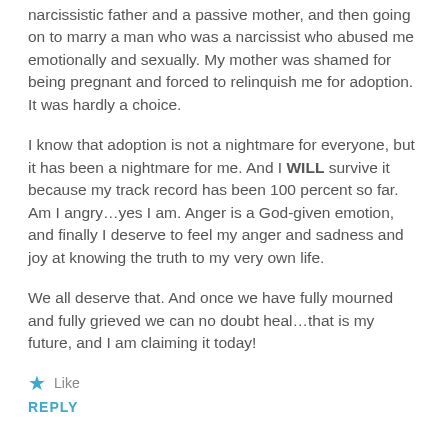narcissistic father and a passive mother, and then going on to marry a man who was a narcissist who abused me emotionally and sexually. My mother was shamed for being pregnant and forced to relinquish me for adoption. It was hardly a choice.
I know that adoption is not a nightmare for everyone, but it has been a nightmare for me. And I WILL survive it because my track record has been 100 percent so far. Am I angry...yes I am. Anger is a God-given emotion, and finally I deserve to feel my anger and sadness and joy at knowing the truth to my very own life.
We all deserve that. And once we have fully mourned and fully grieved we can no doubt heal...that is my future, and I am claiming it today!
★ Like
REPLY